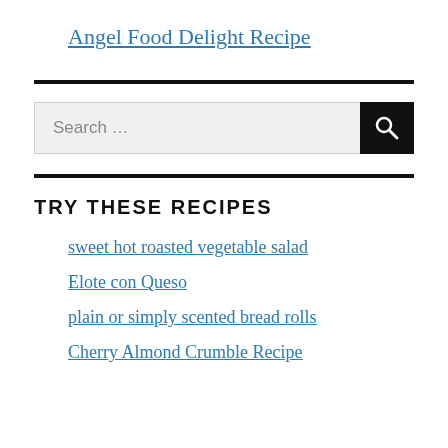Angel Food Delight Recipe
[Figure (other): Horizontal divider line]
[Figure (other): Search box with search button]
[Figure (other): Horizontal divider line]
TRY THESE RECIPES
sweet hot roasted vegetable salad
Elote con Queso
plain or simply scented bread rolls
Cherry Almond Crumble Recipe